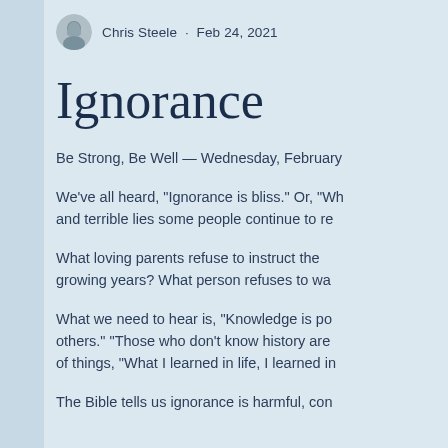Chris Steele · Feb 24, 2021
Ignorance
Be Strong, Be Well — Wednesday, February
We've all heard, "Ignorance is bliss." Or, "Wh and terrible lies some people continue to re
What loving parents refuse to instruct the growing years? What person refuses to wa
What we need to hear is, "Knowledge is po others." "Those who don't know history are of things, "What I learned in life, I learned in
The Bible tells us ignorance is harmful, con